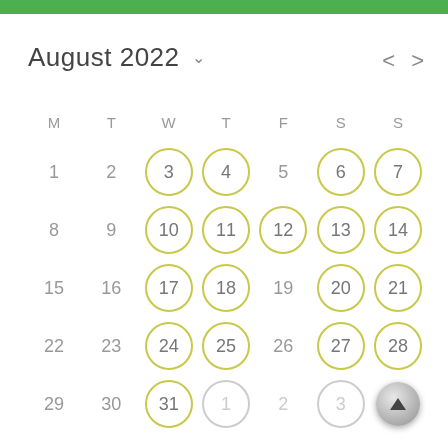August 2022
[Figure (other): Calendar view for August 2022 showing a monthly grid with days M T W T F S S. Days 3,4,6,7,10,11,12,13,14,17,18,20,21,24,25,27,28,31 are circled in yellow/olive rings. Days 1,2,5,8,9,15,16,19,22,23,26,29,30 are plain. Next-month days 1,2,3 shown faded. A scroll-to-top button appears in the last cell. Navigation arrows < > for previous/next month.]